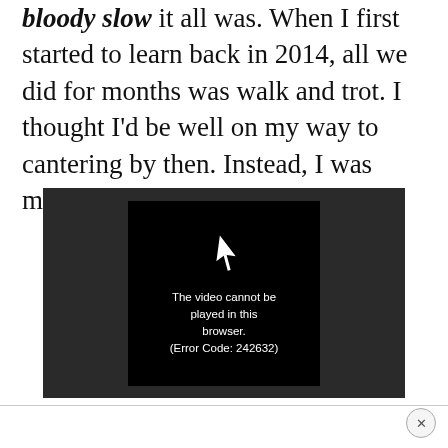bloody slow it all was. When I first started to learn back in 2014, all we did for months was walk and trot. I thought I'd be well on my way to cantering by then. Instead, I was mired in the minutiae of technique.
[Figure (screenshot): Video player showing error message: 'The video cannot be played in this browser. (Error Code: 242632)' with a play button icon on black background, within a dark grey video container.]